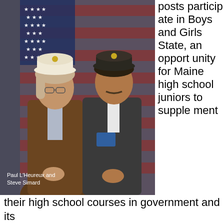[Figure (photo): Two men in American Legion caps standing in front of an American flag, wearing formal jackets. The man on the left has longer hair and is wearing a brown jacket. The man on the right is wearing a dark jacket with a blue name badge. Caption reads: Paul L'Heureux and Steve Simard.]
Paul L'Heureux and Steve Simard
posts participate in Boys and Girls State, an opportunity for Maine high school juniors to supplement their high school courses in government and its